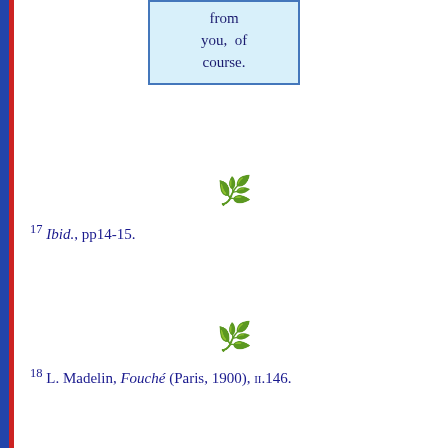from you, of course.
[Figure (illustration): Green decorative heart/plant ornament]
17 Ibid., pp14-15.
[Figure (illustration): Green decorative heart/plant ornament]
18 L. Madelin, Fouché (Paris, 1900), II.146.
[Figure (illustration): Green decorative heart/plant ornament]
19 R. Pichevin, Le Mariage de l'empereur, p16.